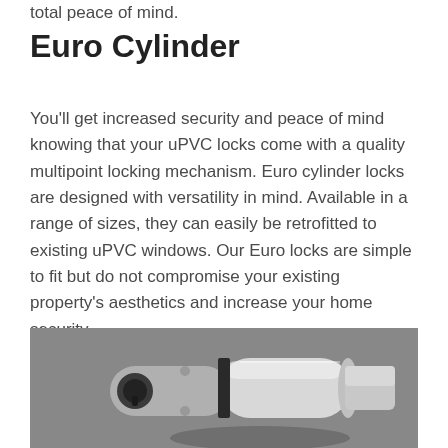total peace of mind.
Euro Cylinder
You'll get increased security and peace of mind knowing that your uPVC locks come with a quality multipoint locking mechanism. Euro cylinder locks are designed with versatility in mind. Available in a range of sizes, they can easily be retrofitted to existing uPVC windows. Our Euro locks are simple to fit but do not compromise your existing property's aesthetics and increase your home security.
[Figure (photo): A close-up photo of a chrome/silver euro cylinder door lock against a grey background, showing the cylindrical body and keyhole.]